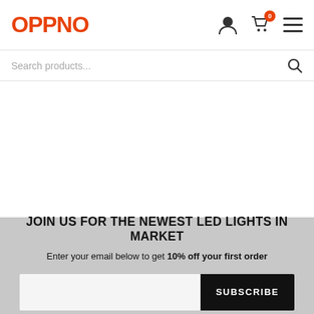OPPNO — navigation header with logo, user icon, cart (0), menu
Search products...
JOIN US FOR THE NEWEST LED LIGHTS IN MARKET
Enter your email below to get 10% off your first order
SUBSCRIBE